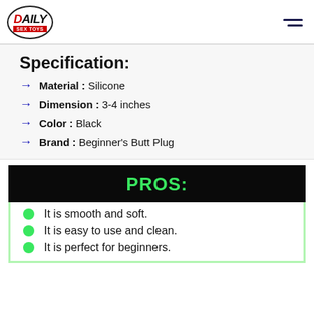Daily Sex Toys
Specification:
Material : Silicone
Dimension : 3-4 inches
Color : Black
Brand : Beginner's Butt Plug
PROS:
It is smooth and soft.
It is easy to use and clean.
It is perfect for beginners.